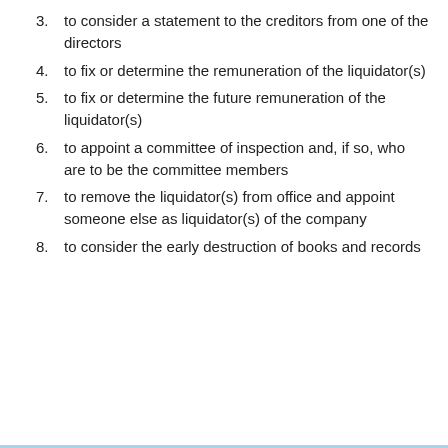3. to consider a statement to the creditors from one of the directors
4. to fix or determine the remuneration of the liquidator(s)
5. to fix or determine the future remuneration of the liquidator(s)
6. to appoint a committee of inspection and, if so, who are to be the committee members
7. to remove the liquidator(s) from office and appoint someone else as liquidator(s) of the company
8. to consider the early destruction of books and records